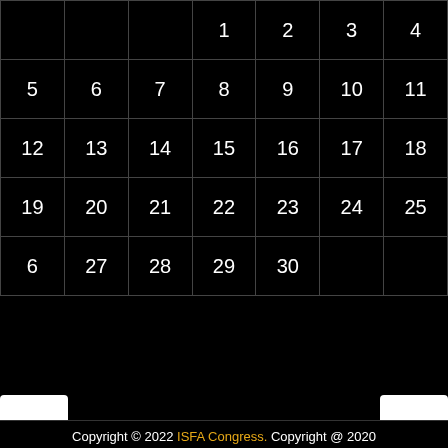|  |  |  | 1 | 2 | 3 | 4 |
| 5 | 6 | 7 | 8 | 9 | 10 | 11 |
| 12 | 13 | 14 | 15 | 16 | 17 | 18 |
| 19 | 20 | 21 | 22 | 23 | 24 | 25 |
| 6 | 27 | 28 | 29 | 30 |  |  |
Ufabet
Copyright © 2022 ISFA Congress. Copyright @ 2020